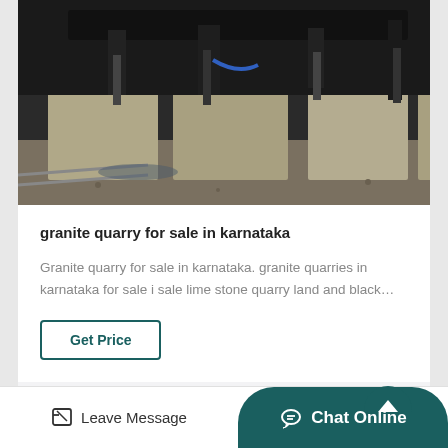[Figure (photo): Photo of granite quarry machinery and stone blocks on a rail track, industrial quarry equipment with large concrete/stone blocks]
granite quarry for sale in karnataka
Granite quarry for sale in karnataka. granite quarries in karnataka for sale i sale lime stone quarry land and black…
Get Price
[Figure (other): Scroll to top button - circular dark teal button with upward arrow]
Leave Message
Chat Online